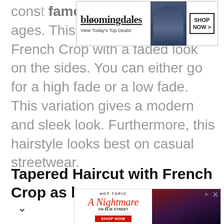[Figure (screenshot): Bloomingdale's advertisement banner: brand logo, 'View Today's Top Deals!' text, fashion image of woman with hat, 'SHOP NOW >' button]
cons[...] famous among men of all ages. This is the variation of the French Crop with a faded look on the sides. You can either go for a high fade or a low fade. This variation gives a modern and sleek look. Furthermore, this hairstyle looks best on casual streetwear.
Tapered Haircut with French Crop as base
[Figure (screenshot): Hot Topic advertisement: 'A Nightmare on Elm Street' promotional banner with two people in horror-themed clothing, red SHOP NOW button]